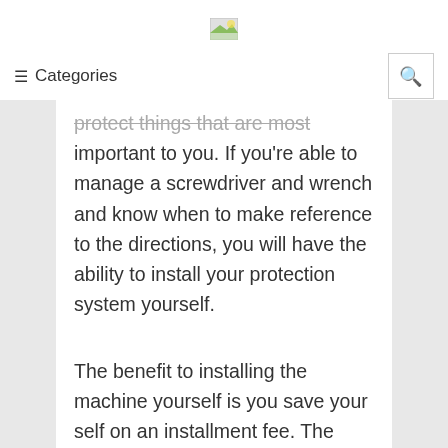[Figure (logo): Small landscape/image icon logo at top center of page]
≡ Categories
protect things that are most important to you. If you're able to manage a screwdriver and wrench and know when to make reference to the directions, you will have the ability to install your protection system yourself.
The benefit to installing the machine yourself is you save your self on an installment fee. The drawback is you may find to late that anything in the installment is amiss when the